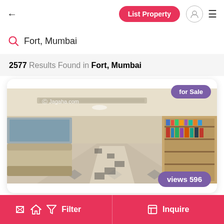← List Property [user icon] ≡
Fort, Mumbai
2577 Results Found in Fort, Mumbai
[Figure (photo): Interior of a commercial space showing a long corridor with black-and-white tiled floor, wooden shelving/bookcase on the right, seating on the left, watermark 'Jagaha.com', badge 'for Sale', badge 'views 596']
Filter   Inquire